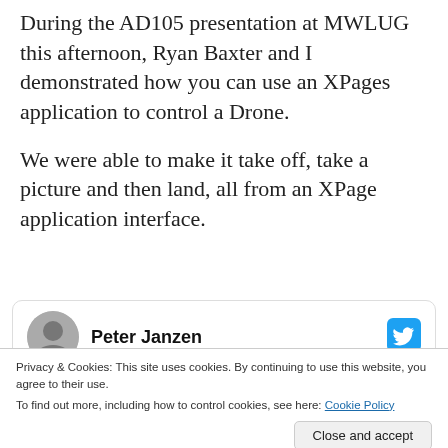During the AD105 presentation at MWLUG this afternoon, Ryan Baxter and I demonstrated how you can use an XPages application to control a Drone.
We were able to make it take off, take a picture and then land, all from an XPage application interface.
Peter Janzen
Privacy & Cookies: This site uses cookies. By continuing to use this website, you agree to their use.
To find out more, including how to control cookies, see here: Cookie Policy
Close and accept